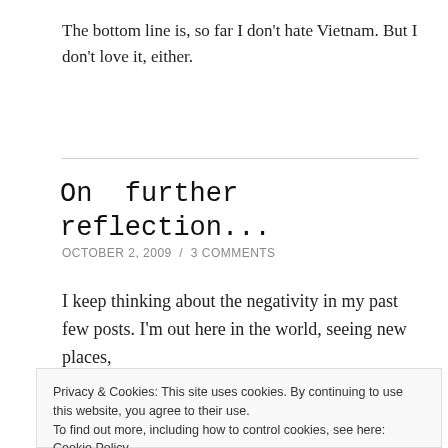The bottom line is, so far I don't hate Vietnam. But I don't love it, either.
On further reflection...
OCTOBER 2, 2009 / 3 COMMENTS
I keep thinking about the negativity in my past few posts. I'm out here in the world, seeing new places,
Privacy & Cookies: This site uses cookies. By continuing to use this website, you agree to their use.
To find out more, including how to control cookies, see here: Cookie Policy
roughest terms, someone on a 2-week holiday is a